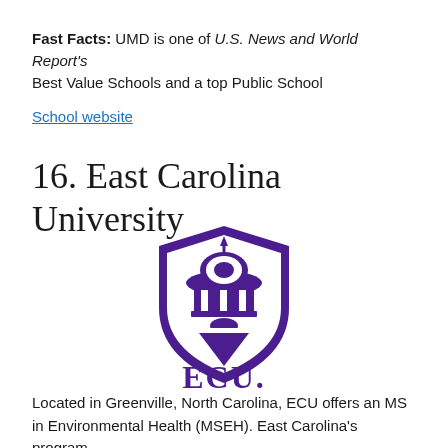Fast Facts: UMD is one of U.S. News and World Report's Best Value Schools and a top Public School
School website
16. East Carolina University
[Figure (logo): East Carolina University shield logo with ECU text in purple]
Located in Greenville, North Carolina, ECU offers an MS in Environmental Health (MSEH). East Carolina's program